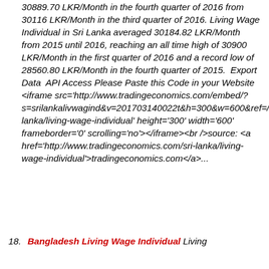30889.70 LKR/Month in the fourth quarter of 2016 from 30116 LKR/Month in the third quarter of 2016. Living Wage Individual in Sri Lanka averaged 30184.82 LKR/Month from 2015 until 2016, reaching an all time high of 30900 LKR/Month in the first quarter of 2016 and a record low of 28560.80 LKR/Month in the fourth quarter of 2015.  Export Data  API Access Please Paste this Code in your Website <iframe src='http://www.tradingeconomics.com/embed/?s=srilankalivwagind&v=201703140022t&h=300&w=600&ref=/sri-lanka/living-wage-individual' height='300' width='600' frameborder='0' scrolling='no'></iframe><br />source: <a href='http://www.tradingeconomics.com/sri-lanka/living-wage-individual'>tradingeconomics.com</a>...
18. Bangladesh Living Wage Individual Living